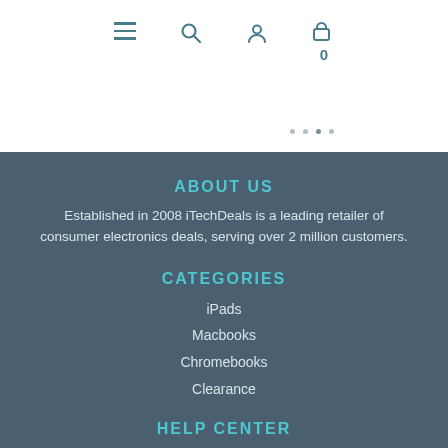[Figure (screenshot): Navigation bar with hamburger menu, search icon, user icon, and cart icon showing 0]
ABOUT US
Established in 2008 iTechDeals is a leading retailer of consumer electronics deals, serving over 2 million customers.
CATEGORIES
iPads
Macbooks
Chromebooks
Clearance
HELP CENTER
About Us